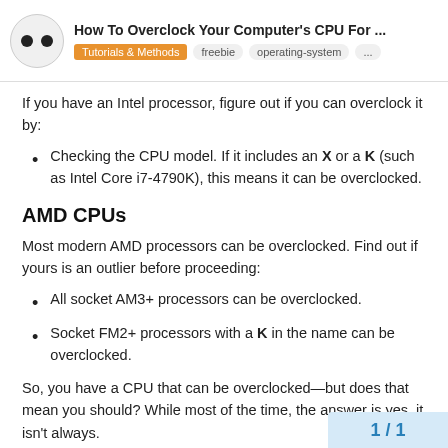How To Overclock Your Computer's CPU For ... | Tutorials & Methods | freebie | operating-system | ...
If you have an Intel processor, figure out if you can overclock it by:
Checking the CPU model. If it includes an X or a K (such as Intel Core i7-4790K), this means it can be overclocked.
AMD CPUs
Most modern AMD processors can be overclocked. Find out if yours is an outlier before proceeding:
All socket AM3+ processors can be overclocked.
Socket FM2+ processors with a K in the name can be overclocked.
So, you have a CPU that can be overclocked—but does that mean you should? While most of the time, the answer is yes, it isn't always.
1 / 1